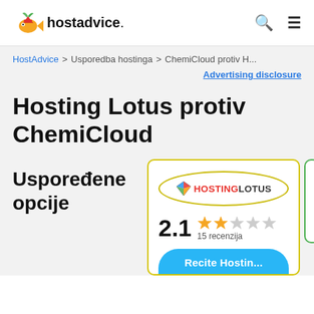hostadvice.
HostAdvice > Usporedba hostinga > ChemiCloud protiv H...
Advertising disclosure
Hosting Lotus protiv ChemiCloud
Uspoređene opcije
[Figure (logo): HostingLotus logo inside a yellow oval with diamond icon]
2.1 ★★☆☆☆ 15 recenzija
Recite Hostin...